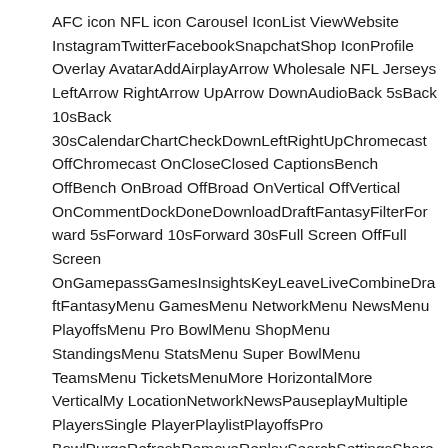AFC icon NFL icon Carousel IconList ViewWebsite InstagramTwitterFacebookSnapchatShop IconProfile Overlay AvatarAddAirplayArrow Wholesale NFL Jerseys LeftArrow RightArrow UpArrow DownAudioBack 5sBack 10sBack 30sCalendarChartCheckDownLeftRightUpChromecast OffChromecast OnCloseClosed CaptionsBench OffBench OnBroad OffBroad OnVertical OffVertical OnCommentDockDoneDownloadDraftFantasyFilterForward 5sForward 10sForward 30sFull Screen OffFull Screen OnGamepassGamesInsightsKeyLeaveLiveCombineDraftFantasyMenu GamesMenu NetworkMenu NewsMenu PlayoffsMenu Pro BowlMenu ShopMenu StandingsMenu StatsMenu Super BowlMenu TeamsMenu TicketsMenuMore HorizontalMore VerticalMy LocationNetworkNewsPauseplayMultiple PlayersSingle PlayerPlaylistPlayoffsPro BowlPurgeRefreshRemoveReplaySearchSettingsShare AndroidShare Copy URLShare EmailShare FacebookShare InstagramShare iOSShare SnapchatShare TwitterSkip NextSkip